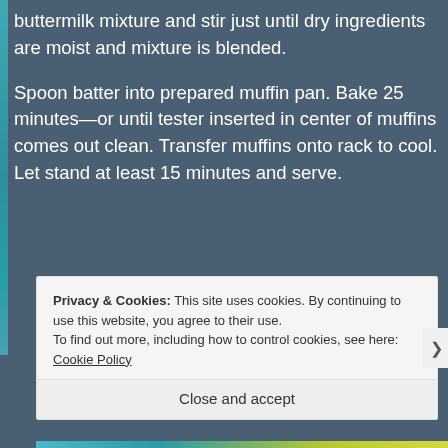buttermilk mixture and stir just until dry ingredients are moist and mixture is blended.
Spoon batter into prepared muffin pan. Bake 25 minutes—or until tester inserted in center of muffins comes out clean. Transfer muffins onto rack to cool. Let stand at least 15 minutes and serve.
Privacy & Cookies: This site uses cookies. By continuing to use this website, you agree to their use.
To find out more, including how to control cookies, see here: Cookie Policy
Close and accept